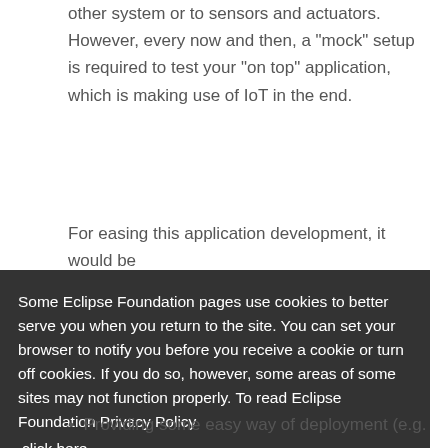other system or to sensors and actuators. However, every now and then, a "mock" setup is required to test your "on top" application, which is making use of IoT in the end.
For easing this application development, it would be
e s or
)
Some Eclipse Foundation pages use cookies to better serve you when you return to the site. You can set your browser to notify you before you receive a cookie or turn off cookies. If you do so, however, some areas of some sites may not function properly. To read Eclipse Foundation Privacy Policy click here.
Decline
Allow cookies
Providing some easy way of deployment (e.g.